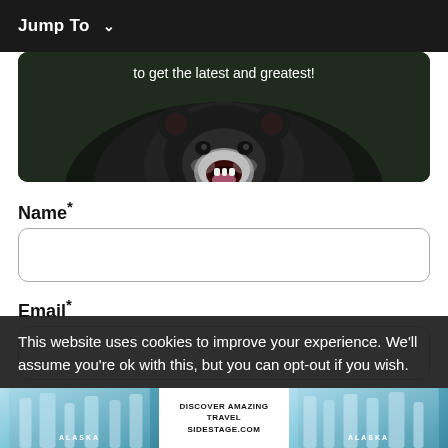Jump To ∨
[Figure (photo): Hero image of a black bear with mouth open yawning/roaring, dark background, overlaid with text 'to get the latest and greatest!']
to get the latest and greatest!
Name*
Email*
This website uses cookies to improve your experience. We'll assume you're ok with this, but you can opt-out if you wish.
[Figure (photo): Advertisement banner showing Alaska glacier ice images on left and right sides with central white text panel reading 'DISCOVER AMAZING TRAVEL SIDESTAGE.COM']